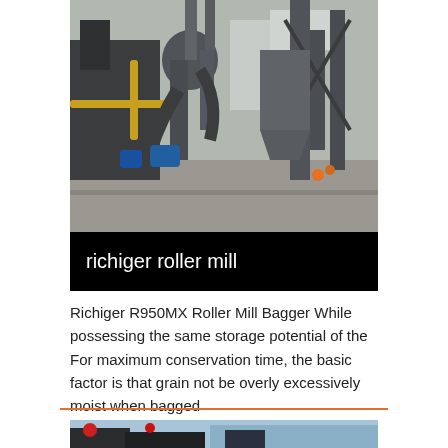[Figure (photo): Industrial roller mill machinery with pipes, ducts, and metal structures at an outdoor industrial facility]
richiger roller mill
Richiger R950MX Roller Mill Bagger While possessing the same storage potential of the For maximum conservation time, the basic factor is that grain not be overly excessively moist when bagged
Get More
[Figure (photo): Partial view of industrial equipment, bottom of page]